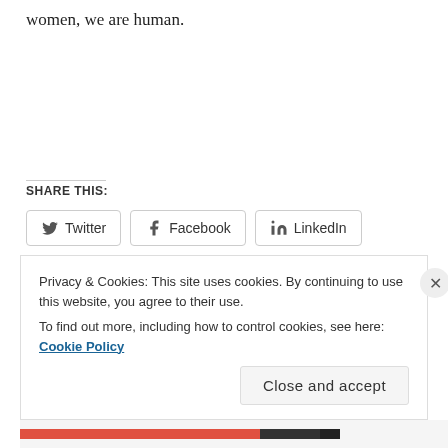women, we are human.
SHARE THIS:
Twitter Facebook LinkedIn
Loading…
Privacy & Cookies: This site uses cookies. By continuing to use this website, you agree to their use.
To find out more, including how to control cookies, see here: Cookie Policy
Close and accept